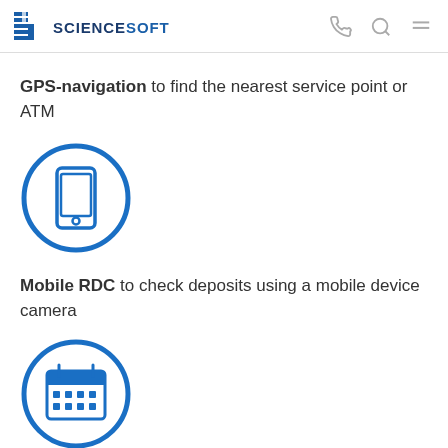ScienceSoft
GPS-navigation to find the nearest service point or ATM
[Figure (illustration): Blue circle icon containing a smartphone/mobile phone symbol]
Mobile RDC to check deposits using a mobile device camera
[Figure (illustration): Blue circle icon containing a calendar symbol]